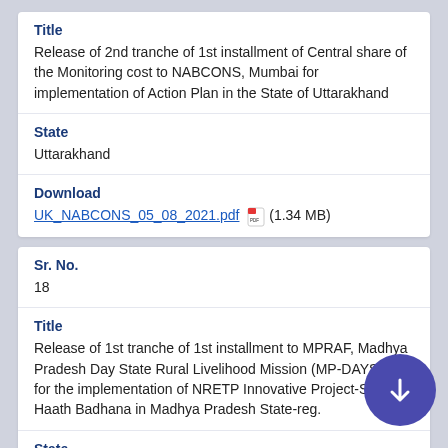Title
Release of 2nd tranche of 1st installment of Central share of the Monitoring cost to NABCONS, Mumbai for implementation of Action Plan in the State of Uttarakhand
State
Uttarakhand
Download
UK_NABCONS_05_08_2021.pdf (1.34 MB)
Sr. No.
18
Title
Release of 1st tranche of 1st installment to MPRAF, Madhya Pradesh Day State Rural Livelihood Mission (MP-DAYSRLM) for the implementation of NRETP Innovative Project-Saathi Haath Badhana in Madhya Pradesh State-reg.
State